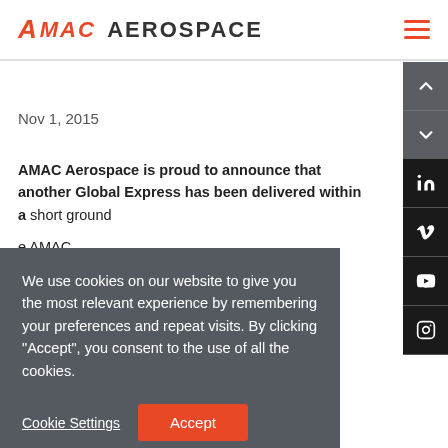AMAC AEROSPACE
Nov 1, 2015
AMAC Aerospace is proud to announce that another Global Express has been delivered within a short ground ... e AMAC ... sed Head of ... e on time
We use cookies on our website to give you the most relevant experience by remembering your preferences and repeat visits. By clicking "Accept", you consent to the use of all the cookies.
Oct 26, 2015